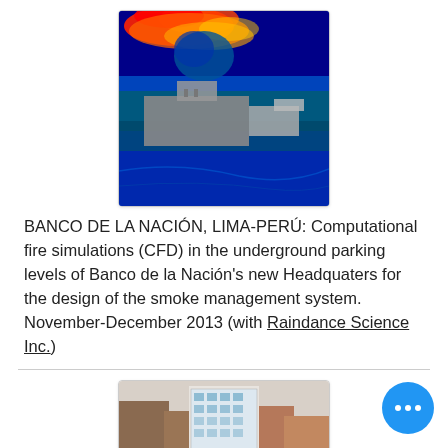[Figure (other): CFD fire simulation image showing heat map/color gradient over a building floor plan cross-section with reds/yellows at top and blues/greens below, gray building shape in center]
BANCO DE LA NACIÓN, LIMA-PERÚ: Computational fire simulations (CFD) in the underground parking levels of Banco de la Nación's new Headquaters for the design of the smoke management system. November-December 2013 (with Raindance Science Inc.)
[Figure (photo): Architectural rendering of a modern multi-story building with glass facades, street-level retail, and pedestrians in an urban setting]
OSCAR FREIRE SQUARE, SAO PAULO